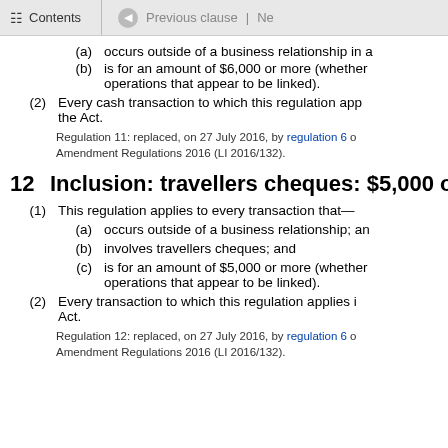Contents | Previous clause | Ne
(a) occurs outside of a business relationship in a
(b) is for an amount of $6,000 or more (whether operations that appear to be linked).
(2) Every cash transaction to which this regulation app the Act.
Regulation 11: replaced, on 27 July 2016, by regulation 6 o Amendment Regulations 2016 (LI 2016/132).
12 Inclusion: travellers cheques: $5,000 or
(1) This regulation applies to every transaction that—
(a) occurs outside of a business relationship; an
(b) involves travellers cheques; and
(c) is for an amount of $5,000 or more (whether operations that appear to be linked).
(2) Every transaction to which this regulation applies i Act.
Regulation 12: replaced, on 27 July 2016, by regulation 6 o Amendment Regulations 2016 (LI 2016/132).